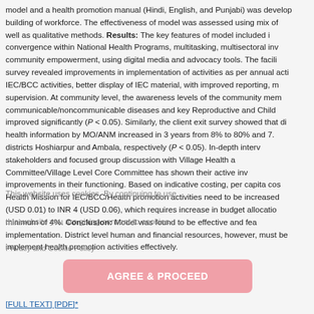model and a health promotion manual (Hindi, English, and Punjabi) was developed for building of workforce. The effectiveness of model was assessed using mix of well as qualitative methods. Results: The key features of model included convergence within National Health Programs, multitasking, multisectoral involvement, community empowerment, using digital media and advocacy tools. The facility survey revealed improvements in implementation of activities as per annual activity plan, IEC/BCC activities, better display of IEC material, with improved reporting, monitoring, supervision. At community level, the awareness levels of the community members on communicable/noncommunicable diseases and key Reproductive and Child Health improved significantly (P < 0.05). Similarly, the client exit survey showed that dissemination of health information by MO/ANM increased in 3 years from 8% to 80% and 7.3% to 74% at districts Hoshiarpur and Ambala, respectively (P < 0.05). In-depth interviews with stakeholders and focused group discussion with Village Health and Sanitation Committee/Village Level Core Committee has shown their active involvement and improvements in their functioning. Based on indicative costing, per capita cost under National Health Mission for IEC/BCC/Health promotion activities need to be increased from INR 1 (USD 0.01) to INR 4 (USD 0.06), which requires increase in budget allocation to a minimum of 4%. Conclusion: Model was found to be effective and feasible for implementation. District level human and financial resources, however, must be enhanced to implement health promotion activities effectively.
This website uses cookies. By continuing to use this website you are giving consent to cookies being used. For information on cookies and how you can disable them, visit our Privacy and Cookie Policy.
AGREE & PROCEED
[FULL TEXT] [PDF]*